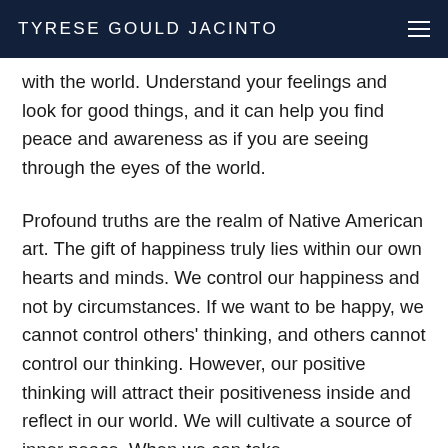TYRESE GOULD JACINTO
with the world. Understand your feelings and look for good things, and it can help you find peace and awareness as if you are seeing through the eyes of the world.
Profound truths are the realm of Native American art. The gift of happiness truly lies within our own hearts and minds. We control our happiness and not by circumstances. If we want to be happy, we cannot control others' thinking, and others cannot control our thinking. However, our positive thinking will attract their positiveness inside and reflect in our world. We will cultivate a source of inner peace. When we can take